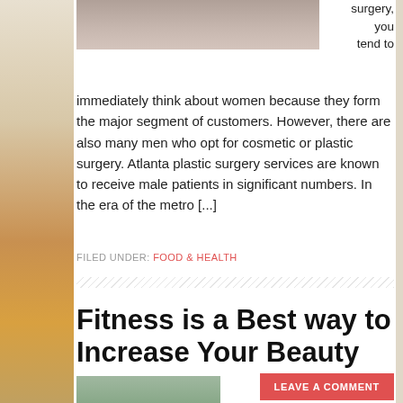[Figure (photo): Partial photo of a male patient related to plastic surgery, cropped at top]
surgery, you tend to immediately think about women because they form the major segment of customers. However, there are also many men who opt for cosmetic or plastic surgery. Atlanta plastic surgery services are known to receive male patients in significant numbers. In the era of the metro [...]
FILED UNDER: FOOD & HEALTH
Fitness is a Best way to Increase Your Beauty
APRIL 2, 2015 BY AMY L
LEAVE A COMMENT
[Figure (photo): Partial photo at bottom of page, cropped, related to fitness/beauty article]